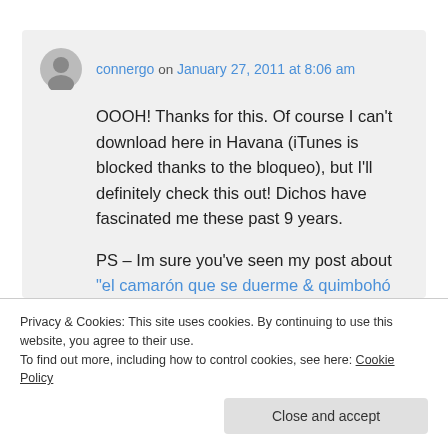connergo on January 27, 2011 at 8:06 am
OOOH! Thanks for this. Of course I can't download here in Havana (iTunes is blocked thanks to the bloqueo), but I'll definitely check this out! Dichos have fascinated me these past 9 years.
PS – Im sure you've seen my post about "el camarón que se duerme & quimbohó que...
Privacy & Cookies: This site uses cookies. By continuing to use this website, you agree to their use. To find out more, including how to control cookies, see here: Cookie Policy